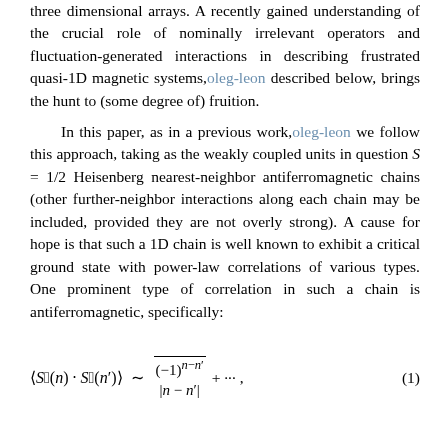three dimensional arrays. A recently gained understanding of the crucial role of nominally irrelevant operators and fluctuation-generated interactions in describing frustrated quasi-1D magnetic systems,oleg-leon described below, brings the hunt to (some degree of) fruition.

In this paper, as in a previous work,oleg-leon we follow this approach, taking as the weakly coupled units in question S = 1/2 Heisenberg nearest-neighbor antiferromagnetic chains (other further-neighbor interactions along each chain may be included, provided they are not overly strong). A cause for hope is that such a 1D chain is well known to exhibit a critical ground state with power-law correlations of various types. One prominent type of correlation in such a chain is antiferromagnetic, specifically: